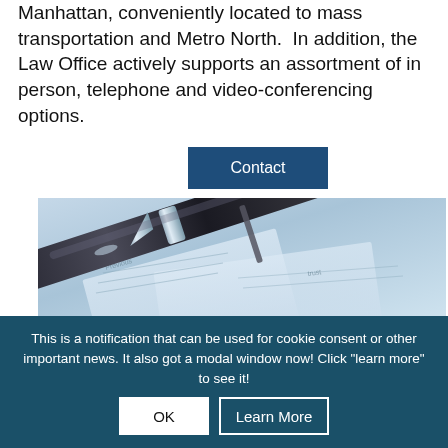Manhattan, conveniently located to mass transportation and Metro North.  In addition, the Law Office actively supports an assortment of in person, telephone and video-conferencing options.
Contact
[Figure (photo): Close-up photo of a silver ballpoint pen resting on legal or financial documents with blue-tinted lighting]
This is a notification that can be used for cookie consent or other important news. It also got a modal window now! Click "learn more" to see it!
OK
Learn More